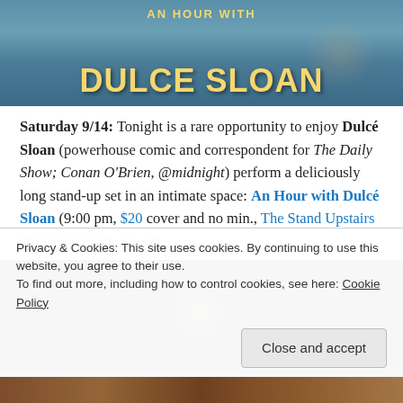[Figure (photo): Promotional image for 'An Hour with Dulce Sloan' with bold yellow text on a blue/teal background showing partial figure]
Saturday 9/14: Tonight is a rare opportunity to enjoy Dulcé Sloan (powerhouse comic and correspondent for The Daily Show; Conan O'Brien, @midnight) perform a deliciously long stand-up set in an intimate space: An Hour with Dulcé Sloan (9:00 pm, $20 cover and no min., The Stand Upstairs at 116 East 16th Street)
[Figure (photo): Dark concert/performance photo with dim lighting and a glowing/spotlight effect]
Privacy & Cookies: This site uses cookies. By continuing to use this website, you agree to their use.
To find out more, including how to control cookies, see here: Cookie Policy
[Figure (photo): Bottom partial image showing performers or crowd in warm tones]